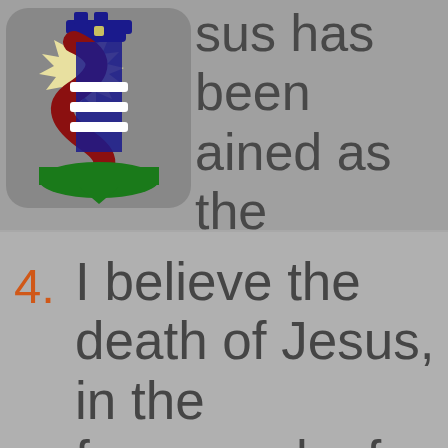sus has been ained as the preme ruler.
[Figure (logo): Lighthouse logo with red spiral stripe, blue tower, green base, and yellow starburst; three white horizontal lines on tower]
4. I believe the death of Jesus, in the framework of the Passover,